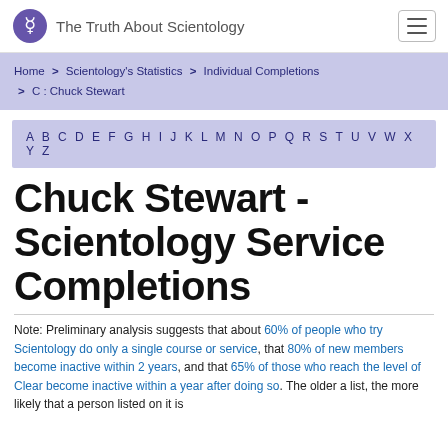The Truth About Scientology
Home > Scientology's Statistics > Individual Completions > C : Chuck Stewart
A B C D E F G H I J K L M N O P Q R S T U V W X Y Z
Chuck Stewart - Scientology Service Completions
Note: Preliminary analysis suggests that about 60% of people who try Scientology do only a single course or service, that 80% of new members become inactive within 2 years, and that 65% of those who reach the level of Clear become inactive within a year after doing so. The older a list, the more likely that a person listed on it is